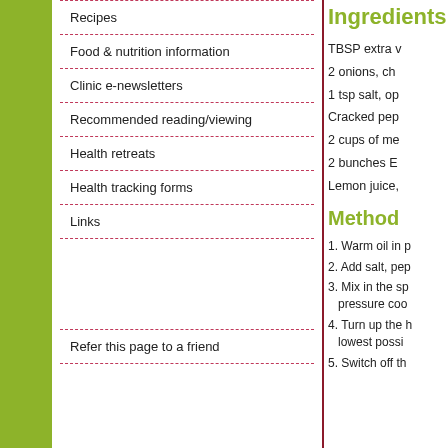Recipes
Food & nutrition information
Clinic e-newsletters
Recommended reading/viewing
Health retreats
Health tracking forms
Links
Refer this page to a friend
Ingredients
TBSP extra v
2 onions, ch
1 tsp salt, op
Cracked pep
2 cups of me
2 bunches E
Lemon juice,
Method
1. Warm oil in p
2. Add salt, pep
3. Mix in the sp pressure coo
4. Turn up the h lowest possi
5. Switch off th